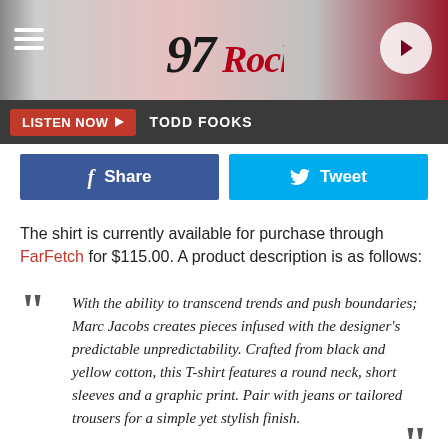97Rock — LISTEN NOW | TODD FOOKS
The shirt is currently available for purchase through FarFetch for $115.00. A product description is as follows:
With the ability to transcend trends and push boundaries; Marc Jacobs creates pieces infused with the designer's predictable unpredictability. Crafted from black and yellow cotton, this T-shirt features a round neck, short sleeves and a graphic print. Pair with jeans or tailored trousers for a simple yet stylish finish.